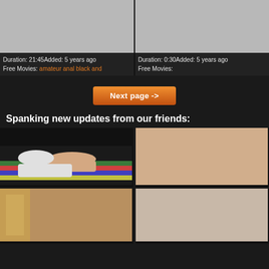[Figure (screenshot): Video thumbnail placeholder - gray rectangle, left card]
Duration: 21:45Added: 5 years ago
Free Movies: amateur anal black and
[Figure (screenshot): Video thumbnail placeholder - gray rectangle, right card]
Duration: 0:30Added: 5 years ago
Free Movies:
Next page ->
Spanking new updates from our friends:
[Figure (photo): Two people lying on a couch with colorful striped bedding]
[Figure (photo): Adult content photo]
[Figure (photo): People on stairs]
[Figure (photo): Adult content photo]